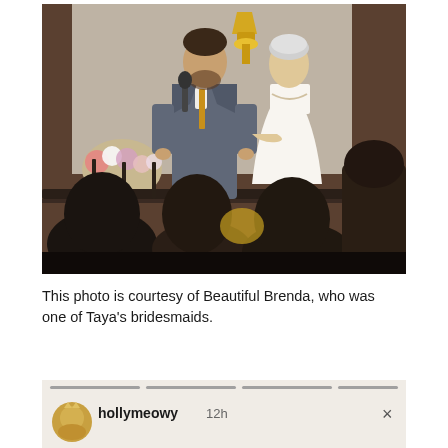[Figure (photo): Wedding photo showing a groom in a grey suit holding a microphone speaking at a ceremony, with the bride in a white strapless gown standing beside him on a raised platform. Flowers and an ornate lamp are visible in the background. Wedding guests are seated in the foreground with their backs to the camera.]
This photo is courtesy of Beautiful Brenda, who was one of Taya's bridesmaids.
[Figure (screenshot): Bottom portion of an Instagram or social media story screenshot showing a user avatar and the username 'hollymeowy' with '12h' timestamp and an X close button.]